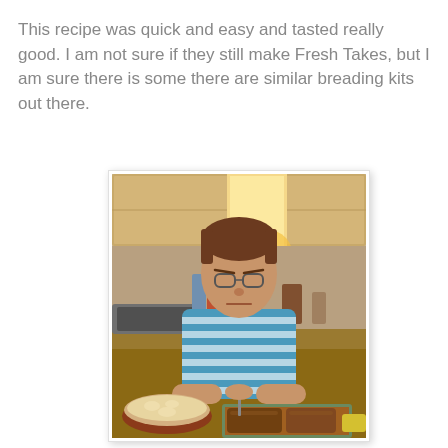This recipe was quick and easy and tasted really good. I am not sure if they still make Fresh Takes, but I am sure there is some there are similar breading kits out there.
[Figure (photo): A boy wearing glasses and a blue and white striped shirt sitting at a kitchen counter with a bowl of food and a baking dish with breaded meat in front of him.]